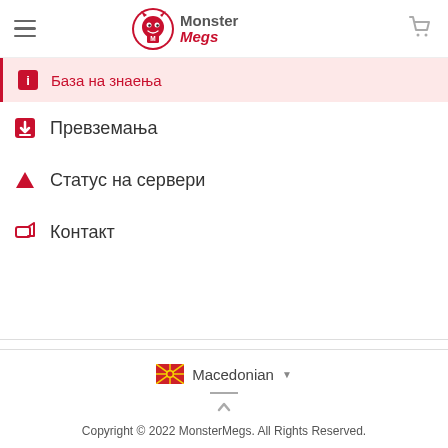MonsterMegs navigation header with hamburger menu and cart icon
База на знаења
Превземања
Статус на сервери
Контакт
Macedonian — Copyright © 2022 MonsterMegs. All Rights Reserved.